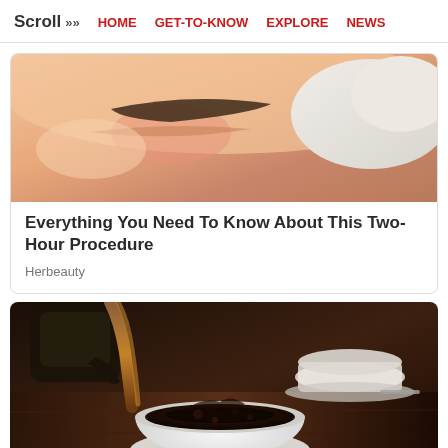Scroll >> HOME  GET-TO-KNOW  EXPLORE  NEWS
[Figure (photo): Close-up of a person's face lying down with gloved hands near eyebrows, suggesting a beauty/cosmetic procedure]
Everything You Need To Know About This Two-Hour Procedure
Herbeauty
[Figure (photo): Coffee being poured from a pot into a white cup, with coffee splashing, on a wooden surface with another cup in background]